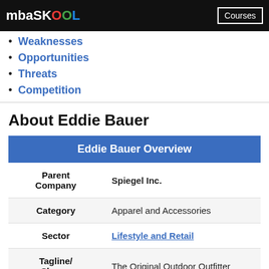mba SKOOL | Courses
Weaknesses
Opportunities
Threats
Competition
About Eddie Bauer
| Eddie Bauer Overview |
| --- |
| Parent Company | Spiegel Inc. |
| Category | Apparel and Accessories |
| Sector | Lifestyle and Retail |
| Tagline/ Slogan | The Original Outdoor Outfitter |